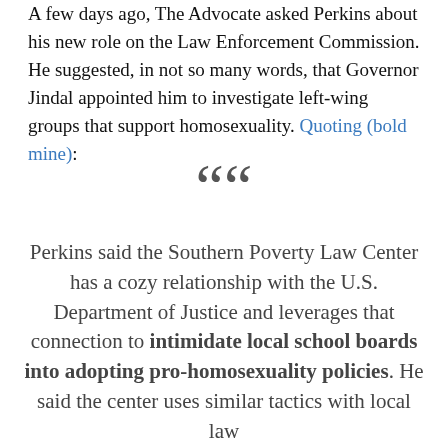A few days ago, The Advocate asked Perkins about his new role on the Law Enforcement Commission. He suggested, in not so many words, that Governor Jindal appointed him to investigate left-wing groups that support homosexuality. Quoting (bold mine):
““
Perkins said the Southern Poverty Law Center has a cozy relationship with the U.S. Department of Justice and leverages that connection to intimidate local school boards into adopting pro-homosexuality policies. He said the center uses similar tactics with local law